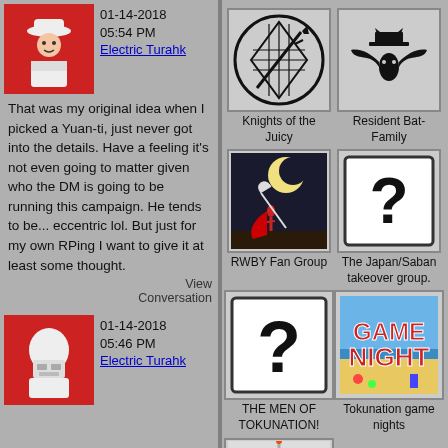01-14-2018 05:54 PM
Electric Turahk
That was my original idea when I picked a Yuan-ti, just never got into the details. Have a feeling it's not even going to matter given who the DM is going to be running this campaign. He tends to be... eccentric lol. But just for my own RPing I want to give it at least some thought.
View Conversation
[Figure (logo): Knights of the Juicy - circular logo with sword and grid pattern]
Knights of the Juicy
[Figure (logo): Resident Bat-Family - black bat silhouette with hat]
Resident Bat-Family
[Figure (illustration): RWBY Fan Group - anime style character with sword and moon]
RWBY Fan Group
[Figure (other): Question mark icon - The Japan/Saban takeover group]
The Japan/Saban takeover group.
[Figure (other): Question mark icon - THE MEN OF TOKUNATION!]
THE MEN OF TOKUNATION!
[Figure (logo): Game Night logo with colorful text]
Tokunation game nights
[Figure (illustration): Gundam robot face illustration]
01-14-2018 05:46 PM
Electric Turahk